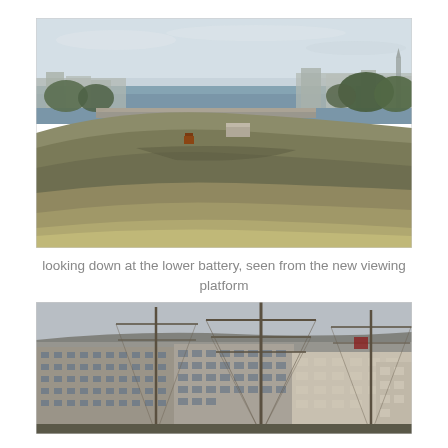[Figure (photo): Panoramic photograph looking down at a lower battery (earthwork fortification mound) with dry grass, small structures visible on the mound, trees, and a wide harbor/river with a distant cityscape in the background under an overcast sky.]
looking down at the lower battery, seen from the new viewing platform
[Figure (photo): Photograph showing a waterfront cityscape with large brick/concrete government or institutional buildings, tall ship masts in the foreground, and bare trees against a grey sky.]